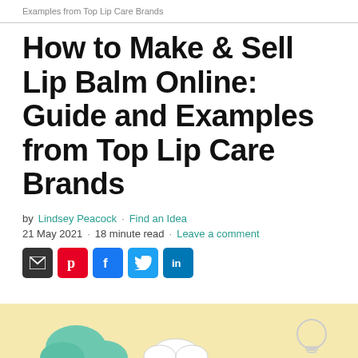Examples from Top Lip Care Brands
How to Make & Sell Lip Balm Online: Guide and Examples from Top Lip Care Brands
by Lindsey Peacock · Find an Idea
21 May 2021 · 18 minute read · Leave a comment
[Figure (infographic): Social share icons: email (dark), Pinterest (red), Facebook (blue), Twitter (light blue), LinkedIn (blue). Yellow illustration bar at bottom with cartoon shapes.]